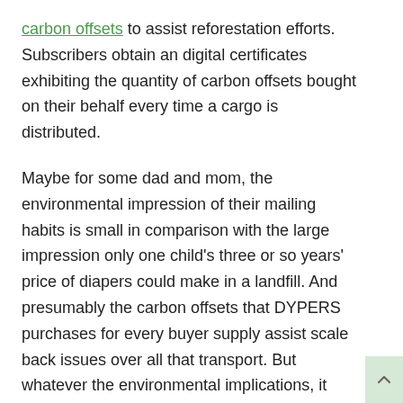carbon offsets to assist reforestation efforts. Subscribers obtain an digital certificates exhibiting the quantity of carbon offsets bought on their behalf every time a cargo is distributed.
Maybe for some dad and mom, the environmental impression of their mailing habits is small in comparison with the large impression only one child's three or so years' price of diapers could make in a landfill. And presumably the carbon offsets that DYPERS purchases for every buyer supply assist scale back issues over all that transport. But whatever the environmental implications, it simply may take just a little convincing to get previous the concept of a field filled with poopy diapers — the place do you retailer that in your home whereas your child is working exhausting to fill it up?